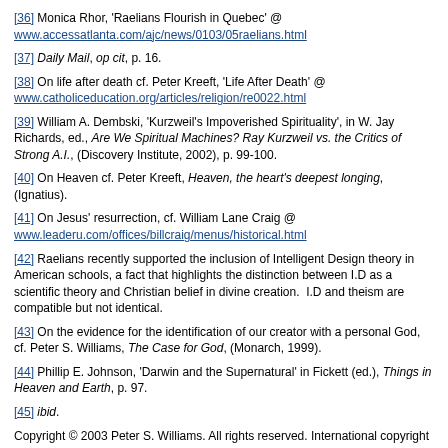[36] Monica Rhor, 'Raelians Flourish in Quebec' @ www.accessatlanta.com/ajc/news/0103/05raelians.html
[37] Daily Mail, op cit, p. 16.
[38] On life after death cf. Peter Kreeft, 'Life After Death' @ www.catholiceducation.org/articles/religion/re0022.html
[39] William A. Dembski, 'Kurzweil's Impoverished Spirituality', in W. Jay Richards, ed., Are We Spiritual Machines? Ray Kurzweil vs. the Critics of Strong A.I., (Discovery Institute, 2002), p. 99-100.
[40] On Heaven cf. Peter Kreeft, Heaven, the heart's deepest longing, (Ignatius).
[41] On Jesus' resurrection, cf. William Lane Craig @ www.leaderu.com/offices/billcraig/menus/historical.html
[42] Raelians recently supported the inclusion of Intelligent Design theory in American schools, a fact that highlights the distinction between I.D as a scientific theory and Christian belief in divine creation. I.D and theism are compatible but not identical.
[43] On the evidence for the identification of our creator with a personal God, cf. Peter S. Williams, The Case for God, (Monarch, 1999).
[44] Phillip E. Johnson, 'Darwin and the Supernatural' in Fickett (ed.), Things in Heaven and Earth, p. 97.
[45] ibid.
Copyright © 2003 Peter S. Williams. All rights reserved. International copyright secured. File Date: 11.21.03